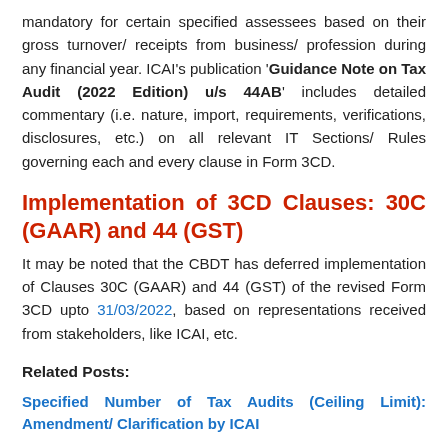mandatory for certain specified assessees based on their gross turnover/ receipts from business/ profession during any financial year. ICAI's publication 'Guidance Note on Tax Audit (2022 Edition) u/s 44AB' includes detailed commentary (i.e. nature, import, requirements, verifications, disclosures, etc.) on all relevant IT Sections/ Rules governing each and every clause in Form 3CD.
Implementation of 3CD Clauses: 30C (GAAR) and 44 (GST)
It may be noted that the CBDT has deferred implementation of Clauses 30C (GAAR) and 44 (GST) of the revised Form 3CD upto 31/03/2022, based on representations received from stakeholders, like ICAI, etc.
Related Posts:
Specified Number of Tax Audits (Ceiling Limit): Amendment/ Clarification by ICAI